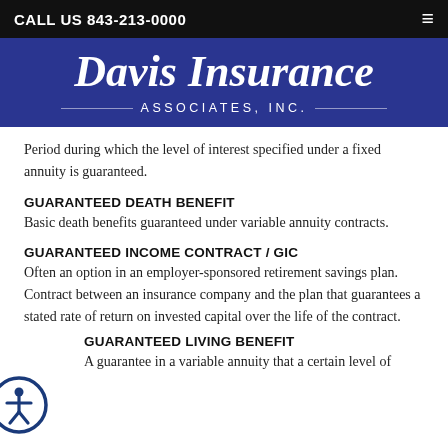CALL US 843-213-0000
[Figure (logo): Davis Insurance Associates, Inc. logo on dark blue background]
Period during which the level of interest specified under a fixed annuity is guaranteed.
GUARANTEED DEATH BENEFIT
Basic death benefits guaranteed under variable annuity contracts.
GUARANTEED INCOME CONTRACT / GIC
Often an option in an employer-sponsored retirement savings plan. Contract between an insurance company and the plan that guarantees a stated rate of return on invested capital over the life of the contract.
[Figure (illustration): Accessibility icon — person in circle outline]
GUARANTEED LIVING BENEFIT
A guarantee in a variable annuity that a certain level of